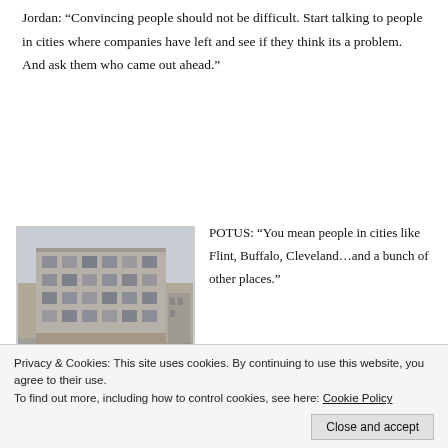Jordan: “Convincing people should not be difficult. Start talking to people in cities where companies have left and see if they think its a problem. And ask them who came out ahead.”
[Figure (photo): Photograph of an abandoned multi-story industrial building with broken windows, dilapidated facade, and empty street, taken from street level.]
POTUS: “You mean people in cities like Flint, Buffalo, Cleveland…and a bunch of other places.”
Jordan: “You got it. The solution to such relocations…at least a partial solution? Make the relocation costly…and difficult.”
Privacy & Cookies: This site uses cookies. By continuing to use this website, you agree to their use.
To find out more, including how to control cookies, see here: Cookie Policy
Close and accept